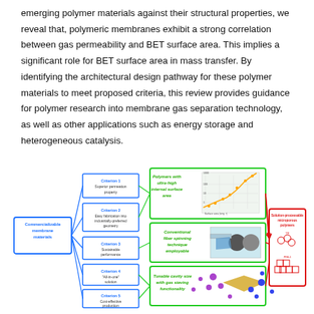emerging polymer materials against their structural properties, we reveal that, polymeric membranes exhibit a strong correlation between gas permeability and BET surface area. This implies a significant role for BET surface area in mass transfer. By identifying the architectural design pathway for these polymer materials to meet proposed criteria, this review provides guidance for polymer research into membrane gas separation technology, as well as other applications such as energy storage and heterogeneous catalysis.
[Figure (flowchart): Flowchart diagram showing commercializable membrane materials criteria (Criterion 1: Superior permeation property, Criterion 2: Easy fabrication into industrially-preferred geometry, Criterion 3: Sustainable performance, Criterion 4: All-in-one solution, Criterion 5: Cost-effective production) leading to three green boxes (Polymers with ultra-high internal surface area with a graph, Conventional fiber spinning technique employable with an illustration, Tunable cavity size with gas sieving functionality with molecule illustration) all pointing to a red box for Solution-processable microporous polymers (TR and PIM-1 chemical structures).]